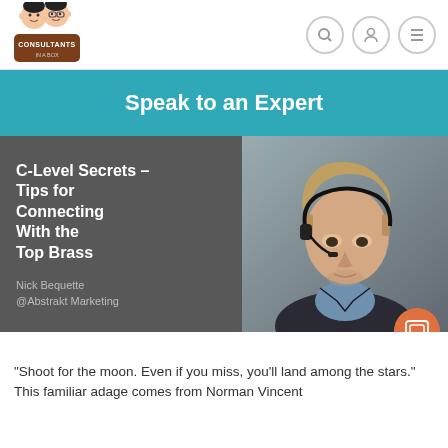[Figure (logo): Consultants In A Box logo with two cartoon figures]
[Figure (illustration): Navigation icons: search, user, and hamburger menu]
Speak to an Expert
[Figure (photo): Article card with dark gray background on left showing title 'C-Level Secrets – Tips for Connecting With the Top Brass' by Nick Bequette @Abstrakt Marketing, and a photo of a young man wearing a headset on right]
"Shoot for the moon. Even if you miss, you'll land among the stars." This familiar adage comes from Norman Vincent